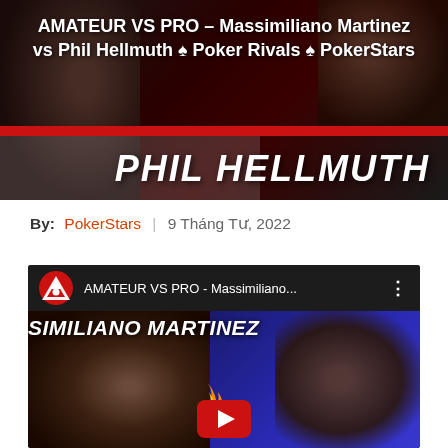[Figure (screenshot): Hero banner image for PokerStars Poker Rivals video: dark red background with text overlay 'AMATEUR VS PRO – Massimiliano Martinez vs Phil Hellmuth ♠ Poker Rivals ♠ PokerStars' at top in white, large italic bold 'PHIL HELLMUTH' text at bottom right, red stripe accent.]
By: PokerStars | 9 Tháng Tư, 2022
[Figure (screenshot): YouTube embedded video thumbnail showing 'AMATEUR VS PRO - Massimiliano...' title in the YouTube player top bar with PokerStars logo icon. Thumbnail shows text 'SIMILIANO MARTINEZ' over a dark scene with a man's face on the left and blue background with flame on the right, YouTube play button at bottom center.]